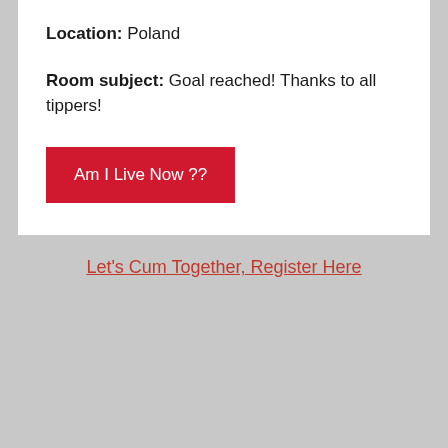Location: Poland
Room subject: Goal reached! Thanks to all tippers!
Am I Live Now ??
Let's Cum Together, Register Here